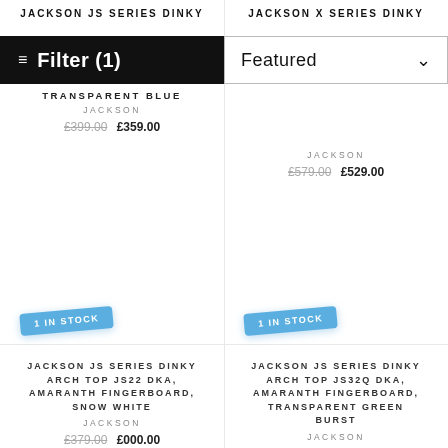JACKSON JS SERIES DINKY
JACKSON X SERIES DINKY
Filter (1)
Featured
TRANSPARENT BLUE
JACKSON
£399.00  £359.00
JACKSON
£579.00  £529.00
1 IN STOCK
1 IN STOCK
JACKSON JS SERIES DINKY ARCH TOP JS22 DKA, AMARANTH FINGERBOARD, SNOW WHITE
JACKSON
£379.00  £000.00
JACKSON JS SERIES DINKY ARCH TOP JS32Q DKA, AMARANTH FINGERBOARD, TRANSPARENT GREEN BURST
JACKSON